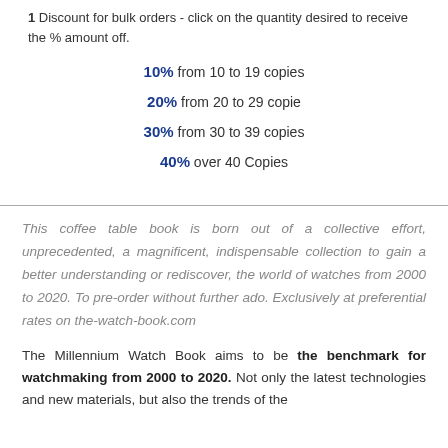1 Discount for bulk orders - click on the quantity desired to receive the % amount off.
10% from 10 to 19 copies
20% from 20 to 29 copie
30% from 30 to 39 copies
40% over 40 Copies
This coffee table book is born out of a collective effort, unprecedented, a magnificent, indispensable collection to gain a better understanding or rediscover, the world of watches from 2000 to 2020. To pre-order without further ado. Exclusively at preferential rates on the-watch-book.com
The Millennium Watch Book aims to be the benchmark for watchmaking from 2000 to 2020. Not only the latest technologies and new materials, but also the trends of the